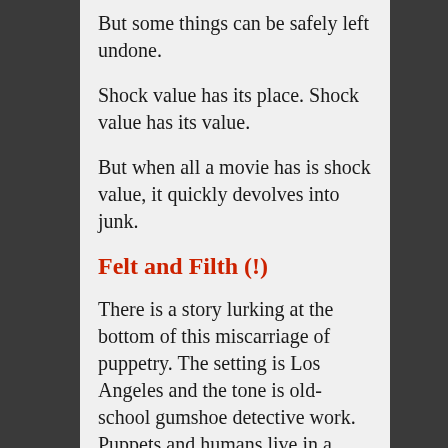But some things can be safely left undone.
Shock value has its place. Shock value has its value.
But when all a movie has is shock value, it quickly devolves into junk.
Felt and Filth (!)
There is a story lurking at the bottom of this miscarriage of puppetry. The setting is Los Angeles and the tone is old-school gumshoe detective work. Puppets and humans live in a world of uneasy coexistence; life gets